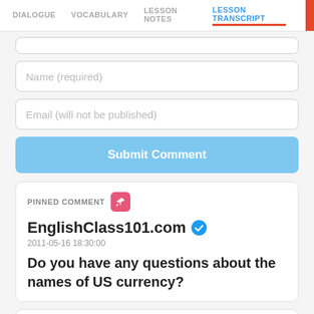DIALOGUE  VOCABULARY  LESSON NOTES  LESSON TRANSCRIPT  C
Name (required)
Email (will not be published)
Submit Comment
PINNED COMMENT
EnglishClass101.com
2011-05-16 18:30:00
Do you have any questions about the names of US currency?
Khanh
2018-03-21 11:58:42
Hi Jason Zhang